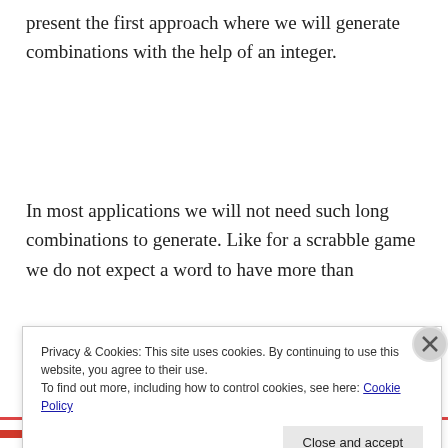present the first approach where we will generate combinations with the help of an integer.
In most applications we will not need such long combinations to generate. Like for a scrabble game we do not expect a word to have more than
Privacy & Cookies: This site uses cookies. By continuing to use this website, you agree to their use.
To find out more, including how to control cookies, see here: Cookie Policy